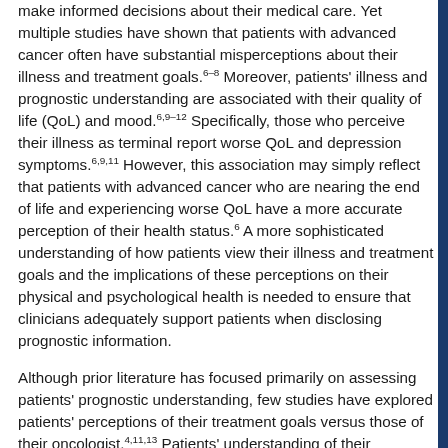make informed decisions about their medical care. Yet multiple studies have shown that patients with advanced cancer often have substantial misperceptions about their illness and treatment goals.6–8 Moreover, patients' illness and prognostic understanding are associated with their quality of life (QoL) and mood.6,9–12 Specifically, those who perceive their illness as terminal report worse QoL and depression symptoms.6,9,11 However, this association may simply reflect that patients with advanced cancer who are nearing the end of life and experiencing worse QoL have a more accurate perception of their health status.6 A more sophisticated understanding of how patients view their illness and treatment goals and the implications of these perceptions on their physical and psychological health is needed to ensure that clinicians adequately support patients when disclosing prognostic information.
Although prior literature has focused primarily on assessing patients' prognostic understanding, few studies have explored patients' perceptions of their treatment goals versus those of their oncologist.4,11,13 Patients' understanding of their treatment goals is an